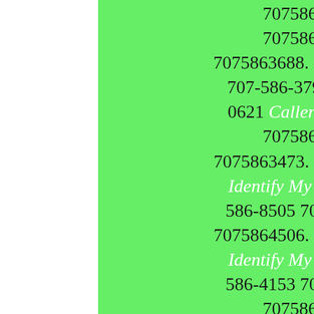7075862820. 707-586-2513 7075862513. 707-586-3688 7075863688. 707-586-1191 7075861191. 707-586-3799 7075863799. 707-586-0621 Caller Name Identify My Caller 7075860621. 707-586-3473 7075863473. 707-586-0139 Caller Name Identify My Caller 7075860139. 707-586-8505 7075868505. 707-586-4506 7075864506. 707-586-0789 Caller Name Identify My Caller 7075860789. 707-586-4153 7075864153. 707-586-2390 7075862390. 707-586-1569 7075861569. 707-586-7875 7075867875. 707-586-7135 7075867135. 707-586-5326 7075865326. 707-586-5494 7075865494. 707-586-1062 7075861062. 707-586-9132 7075869132. 707-586-4867 7075864867. 707-586-6950 7075866950. 707-586-3395 7075863395. 707-586-7396 7075867396. 707-586-3085 7075863085. 707-586-7491